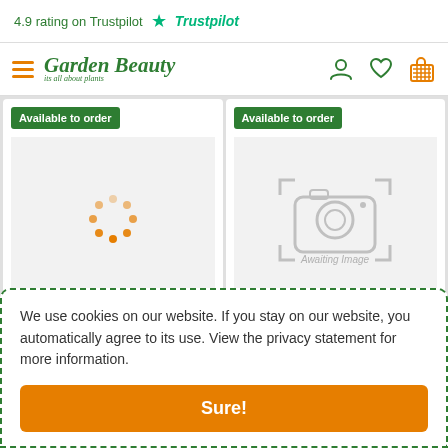4.9 rating on Trustpilot ★ Trustpilot
[Figure (logo): Garden Beauty logo with hamburger menu, and navigation icons (user, heart, basket) in header bar]
[Figure (photo): Product card 1: Agastache Kudos Yellow - orange loading spinner dots on grey background, Available to order badge]
Agastache Kudos Yellow
Full Sun - Deciduous - 2L Pot - Height 0.45m, Spread 0.5m
[Figure (photo): Product card 2: Agastache 'Firebird' - camera placeholder with 'Awaiting Image', Available to order badge]
Agastache 'Firebird'
Full Sun, Semi-shade - 2L Pot Giant Hyssons, Giant Hyssons
We use cookies on our website. If you stay on our website, you automatically agree to its use. View the privacy statement for more information.
Sure!